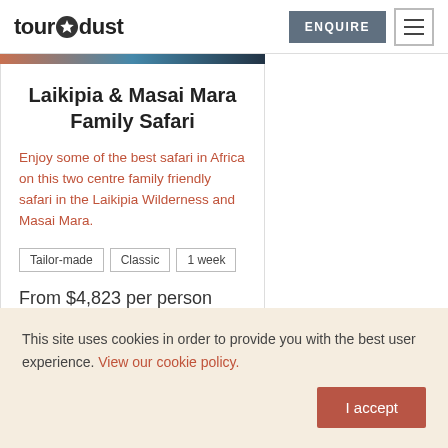tour dust
[Figure (photo): Partial image strip showing safari/landscape photo at top of card]
Laikipia & Masai Mara Family Safari
Enjoy some of the best safari in Africa on this two centre family friendly safari in the Laikipia Wilderness and Masai Mara.
Tailor-made
Classic
1 week
From $4,823 per person
This site uses cookies in order to provide you with the best user experience. View our cookie policy.